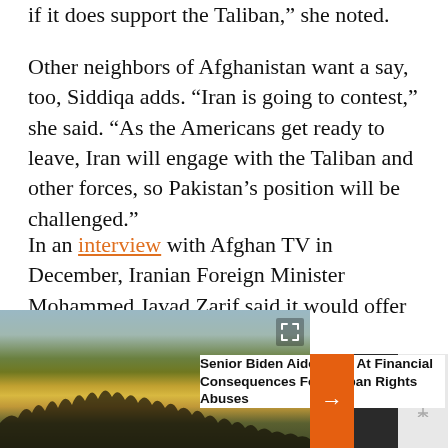if it does support the Taliban,” she noted.
Other neighbors of Afghanistan want a say, too, Siddiqa adds. “Iran is going to contest,” she said. “As the Americans get ready to leave, Iran will engage with the Taliban and other forces, so Pakistan’s position will be challenged.”
In an interview with Afghan TV in December, Iranian Foreign Minister Mohammed Javad Zarif said it would offer the help of its
[Figure (photo): Crowd of people holding yellow flags at a demonstration, with orange arrow navigation element and video thumbnail overlay for a related news story about Senior Biden Aide hinting at financial consequences for Taliban rights abuses.]
Senior Biden Aide Hints At Financial Consequences For Taliban Rights Abuses